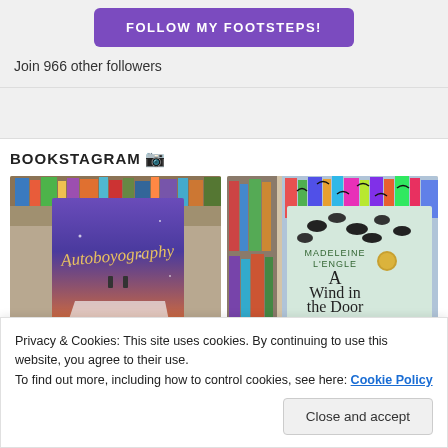[Figure (other): Purple button with text FOLLOW MY FOOTSTEPS!]
Join 966 other followers
BOOKSTAGRAM 📷
[Figure (photo): Photo of a hand holding the book Autoboyography against a bookshelf background]
[Figure (photo): Photo of a hand holding the book A Wind in the Door by Madeleine L'Engle against a bookshelf background]
Privacy & Cookies: This site uses cookies. By continuing to use this website, you agree to their use.
To find out more, including how to control cookies, see here: Cookie Policy
Close and accept